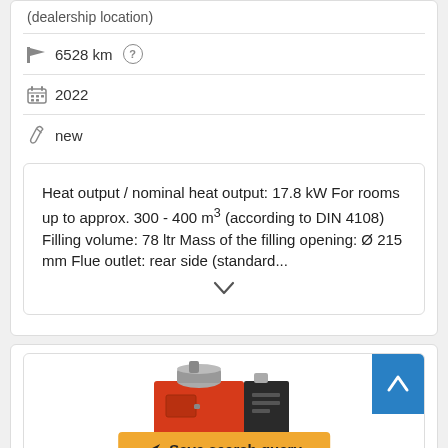(dealership location)
6528 km
2022
new
Heat output / nominal heat output: 17.8 kW For rooms up to approx. 300 - 400 m³ (according to DIN 4108) Filling volume: 78 ltr Mass of the filling opening: Ø 215 mm Flue outlet: rear side (standard...
[Figure (photo): Red and black industrial heating boiler unit with metal pipe/chimney connector on top]
Save search query